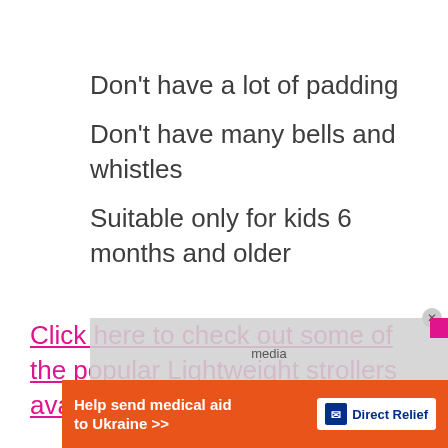Don't have a lot of padding
Don't have many bells and whistles
Suitable only for kids 6 months and older
Click here to check out some of the popular Lightweight strollers available in media
[Figure (other): Advertisement banner: Help send medical aid to Ukraine >> Direct Relief logo]